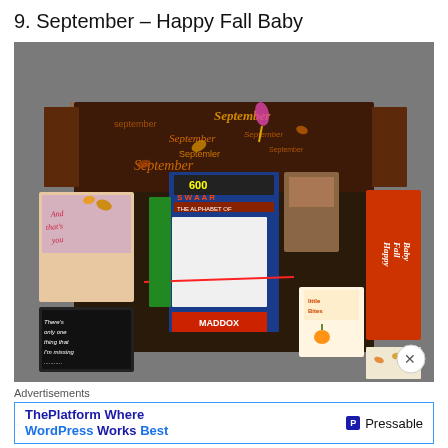9. September – Happy Fall Baby
[Figure (photo): A cardboard box open from the top, decorated with September-themed wrapping paper on the inside. The box contains various items including a book titled 'The Alphabet of', a 'Maddox' labeled item, a Little Bites snack box, and other wrapped items. On the left side of the box is a card reading 'And that's you' and another reading 'There's only one thing that I'm missing...'. On the right side is a red/orange card reading 'Happy Fall Baby'. The box is sitting on a gray carpet.]
Advertisements
ThePlatform Where WordPress Works Best    Pressable